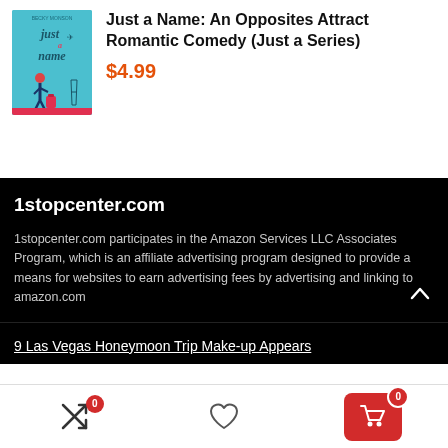[Figure (illustration): Book cover for 'Just a Name: An Opposites Attract Romantic Comedy (Just a Series)' showing illustrated character with luggage on teal background]
Just a Name: An Opposites Attract Romantic Comedy (Just a Series)
$4.99
1stopcenter.com
1stopcenter.com participates in the Amazon Services LLC Associates Program, which is an affiliate advertising program designed to provide a means for websites to earn advertising fees by advertising and linking to amazon.com
9 Las Vegas Honeymoon Trip Make-up Appears